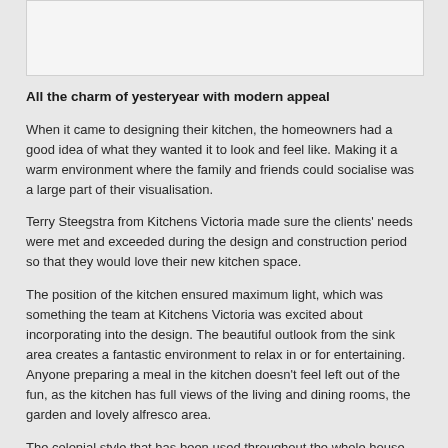[Figure (photo): Photo placeholder at top of page, light grey box]
All the charm of yesteryear with modern appeal
When it came to designing their kitchen, the homeowners had a good idea of what they wanted it to look and feel like. Making it a warm environment where the family and friends could socialise was a large part of their visualisation.
Terry Steegstra from Kitchens Victoria made sure the clients' needs were met and exceeded during the design and construction period so that they would love their new kitchen space.
The position of the kitchen ensured maximum light, which was something the team at Kitchens Victoria was excited about incorporating into the design. The beautiful outlook from the sink area creates a fantastic environment to relax in or for entertaining. Anyone preparing a meal in the kitchen doesn't feel left out of the fun, as the kitchen has full views of the living and dining rooms, the garden and lovely alfresco area.
The colonial style that has been used throughout the whole house was introduced into the kitchen by using the